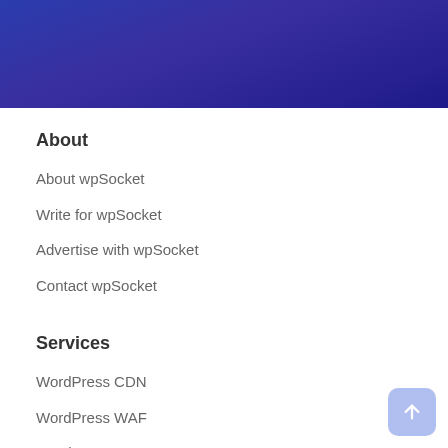[Figure (illustration): Dark blue gradient header banner background]
About
About wpSocket
Write for wpSocket
Advertise with wpSocket
Contact wpSocket
Services
WordPress CDN
WordPress WAF
WordPress SSL